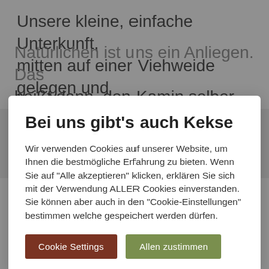Unsere kleine, einfache Unterkunft, mitten auf einer Viehweide gelegen und umgeben von Wiesen, Wäldern und Feldes vermieten wie es
Bei uns gibt's auch Kekse
Wir verwenden Cookies auf unserer Website, um Ihnen die bestmögliche Erfahrung zu bieten. Wenn Sie auf "Alle akzeptieren" klicken, erklären Sie sich mit der Verwendung ALLER Cookies einverstanden. Sie können aber auch in den "Cookie-Einstellungen" bestimmen welche gespeichert werden dürfen.
Cookie Settings | Allen zustimmen
Natürlichen ist uns ein Anliegen. Das heißt dann, den Kamin selber heizen und auf dem Holzherd (Gaskochfeld auch nutzbar) kochen. Vollwertige Zutaten (z.B.: Milch, Käse, Fleisch) für feine